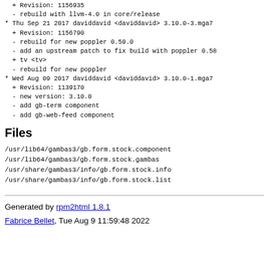+ Revision: 1156935
  - rebuild with llvm-4.0 in core/release
* Thu Sep 21 2017 daviddavid <daviddavid> 3.10.0-3.mga7
  + Revision: 1156790
  - rebuild for new poppler 0.59.0
  - add an upstream patch to fix build with poppler 0.58
  + tv <tv>
  - rebuild for new poppler
* Wed Aug 09 2017 daviddavid <daviddavid> 3.10.0-1.mga7
  + Revision: 1139170
  - new version: 3.10.0
  - add gb-term component
  - add gb-web-feed component
Files
/usr/lib64/gambas3/gb.form.stock.component
/usr/lib64/gambas3/gb.form.stock.gambas
/usr/share/gambas3/info/gb.form.stock.info
/usr/share/gambas3/info/gb.form.stock.list
Generated by rpm2html 1.8.1
Fabrice Bellet, Tue Aug 9 11:59:48 2022